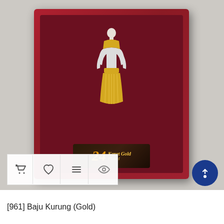[Figure (photo): A Baju Kurung gold-plated pin/brooch displayed in a red velvet jewelry box. The pin depicts a woman in traditional Malay dress with white and gold coloring. A '24 Karat Gold Plated' label badge is visible inside the box. In the lower-left corner of the image, a white action bar shows four icons: shopping cart, heart, list, and eye. A dark blue circular chat button appears in the lower-right corner.]
[961] Baju Kurung (Gold)